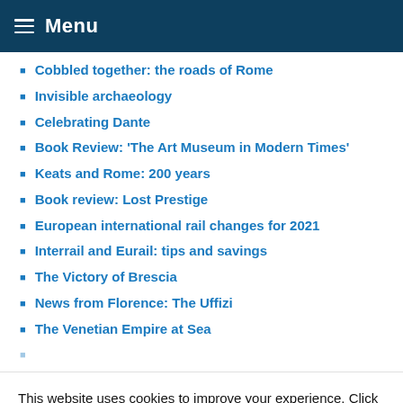Menu
Cobbled together: the roads of Rome
Invisible archaeology
Celebrating Dante
Book Review: 'The Art Museum in Modern Times'
Keats and Rome: 200 years
Book review: Lost Prestige
European international rail changes for 2021
Interrail and Eurail: tips and savings
The Victory of Brescia
News from Florence: The Uffizi
The Venetian Empire at Sea
This website uses cookies to improve your experience. Click “Accept” to consent to the use of all cookies. If you wish to opt out, go to Cookie settings.
Cookie settings | ACCEPT